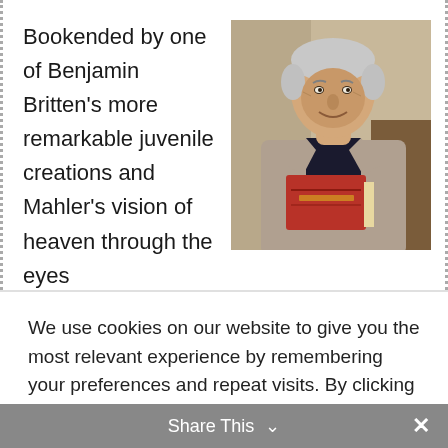Bookended by one of Benjamin Britten's more remarkable juvenile creations and Mahler's vision of heaven through the eyes
[Figure (photo): Elderly man in a light grey blazer holding a red book, smiling, against a light background]
We use cookies on our website to give you the most relevant experience by remembering your preferences and repeat visits. By clicking “Accept”, you consent to the use of ALL the cookies.
Cookie settings
ACCEPT
Share This ⌄ ×